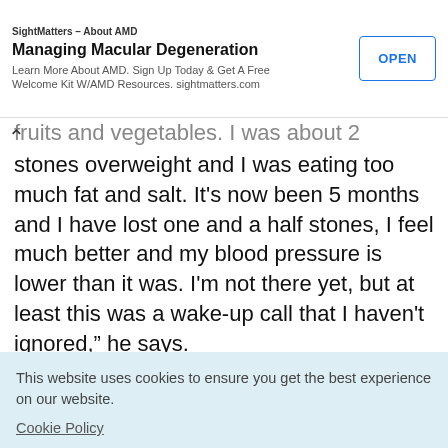[Figure (screenshot): Advertisement banner: SightMatters - About AMD, Managing Macular Degeneration. Learn More About AMD. Sign Up Today & Get A Free Welcome Kit W/AMD Resources. sightmatters.com. OPEN button.]
fruits and vegetables. I was about 2 stones overweight and I was eating too much fat and salt. It's now been 5 months and I have lost one and a half stones, I feel much better and my blood pressure is lower than it was. I'm not there yet, but at least this was a wake-up call that I haven't ignored," he says.
This website uses cookies to ensure you get the best experience on our website. Cookie Policy
Got it!
[Figure (map): Map data ©2022 strip visible at bottom]